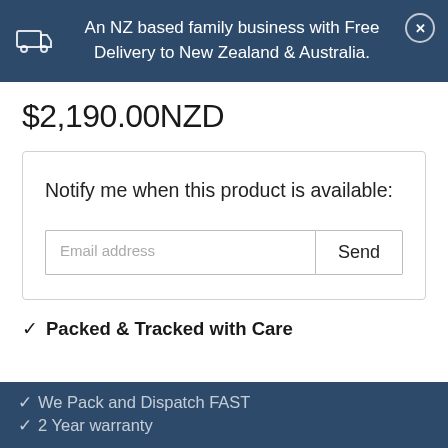An NZ based family business with Free Delivery to New Zealand & Australia.
$2,190.00NZD
Notify me when this product is available:
Email address
Send
✔ Packed & Tracked with Care
✔ We Pack and Dispatch FAST
✔ 2 Year warranty